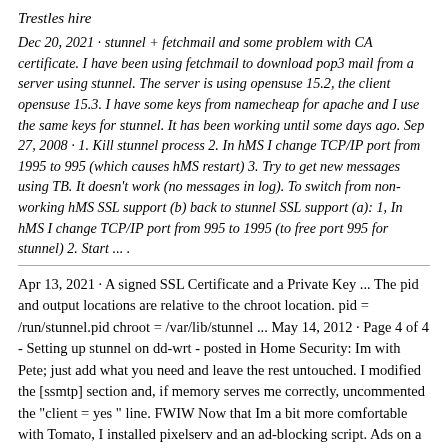Trestles hire
Dec 20, 2021 · stunnel + fetchmail and some problem with CA certificate. I have been using fetchmail to download pop3 mail from a server using stunnel. The server is using opensuse 15.2, the client opensuse 15.3. I have some keys from namecheap for apache and I use the same keys for stunnel. It has been working until some days ago. Sep 27, 2008 · 1. Kill stunnel process 2. In hMS I change TCP/IP port from 1995 to 995 (which causes hMS restart) 3. Try to get new messages using TB. It doesn't work (no messages in log). To switch from non-working hMS SSL support (b) back to stunnel SSL support (a): 1, In hMS I change TCP/IP port from 995 to 1995 (to free port 995 for stunnel) 2. Start ... .
Apr 13, 2021 · A signed SSL Certificate and a Private Key ... The pid and output locations are relative to the chroot location. pid = /run/stunnel.pid chroot = /var/lib/stunnel ... May 14, 2012 · Page 4 of 4 - Setting up stunnel on dd-wrt - posted in Home Security: Im with Pete; just add what you need and leave the rest untouched. I modified the [ssmtp] section and, if memory serves me correctly, uncommented the "client = yes " line. FWIW Now that Im a bit more comfortable with Tomato, I installed pixelserv and an ad-blocking script. Ads on a web-page are redirected to pixelserv which ... Take your CAcert in PKCS12 format (with both the